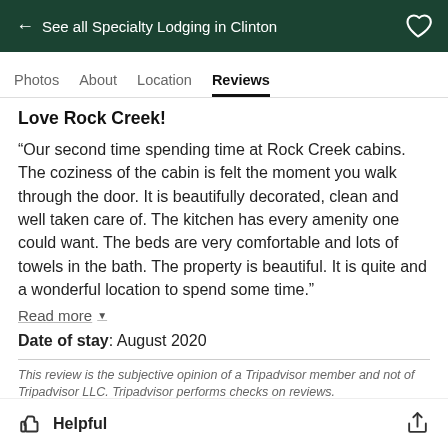← See all Specialty Lodging in Clinton
Photos  About  Location  Reviews
Love Rock Creek!
“Our second time spending time at Rock Creek cabins. The coziness of the cabin is felt the moment you walk through the door. It is beautifully decorated, clean and well taken care of. The kitchen has every amenity one could want. The beds are very comfortable and lots of towels in the bath. The property is beautiful. It is quite and a wonderful location to spend some time.”
Read more
Date of stay: August 2020
This review is the subjective opinion of a Tripadvisor member and not of Tripadvisor LLC. Tripadvisor performs checks on reviews.
Helpful